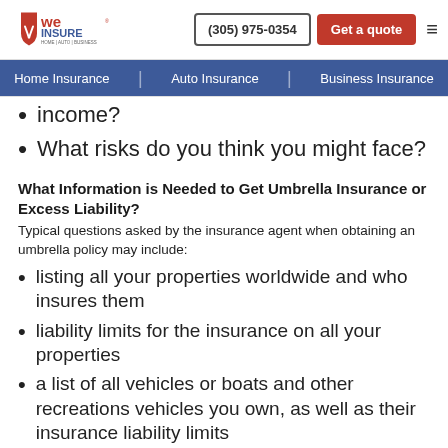We Insure logo | (305) 975-0354 | Get a quote | Home Insurance | Auto Insurance | Business Insurance
income?
What risks do you think you might face?
What Information is Needed to Get Umbrella Insurance or Excess Liability?
Typical questions asked by the insurance agent when obtaining an umbrella policy may include:
listing all your properties worldwide and who insures them
liability limits for the insurance on all your properties
a list of all vehicles or boats and other recreations vehicles you own, as well as their insurance liability limits